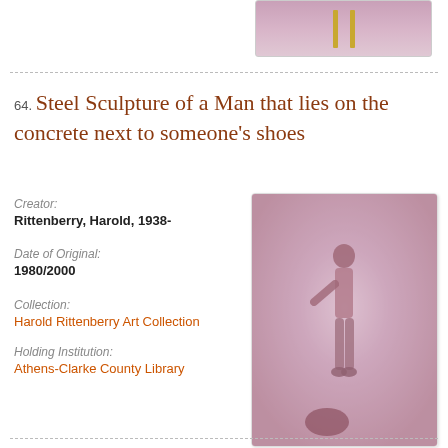[Figure (photo): Partial view of a photograph showing a purple/pink toned image with two vertical gold bars]
64. Steel Sculpture of a Man that lies on the concrete next to someone's shoes
Creator:
Rittenberry, Harold, 1938-
Date of Original:
1980/2000
Collection:
Harold Rittenberry Art Collection
Holding Institution:
Athens-Clarke County Library
[Figure (photo): Photograph of a steel sculpture of a human figure lying on concrete next to shoes, viewed from above with pink/purple tones]